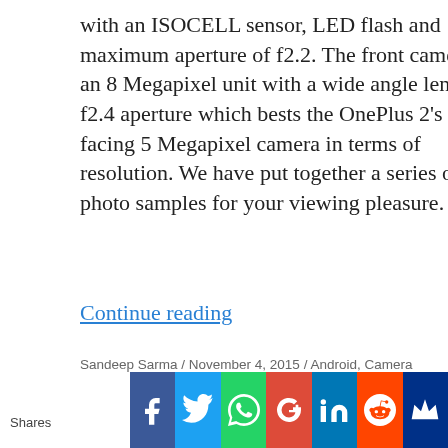with an ISOCELL sensor, LED flash and maximum aperture of f2.2. The front camera is an 8 Megapixel unit with a wide angle lens and f2.4 aperture which bests the OnePlus 2's front facing 5 Megapixel camera in terms of resolution. We have put together a series of photo samples for your viewing pleasure.
Continue reading
Sandeep Sarma / November 4, 2015 / Android, Camera Samples, OnePlus / android, camera samples, ISOCELL, Lollipop, OnePlus, OnePlus X, smartphone / 1 Comment
[Figure (infographic): Social sharing buttons bar: Facebook, Twitter, WhatsApp, Google+, LinkedIn, Reddit, and one more (crown icon). Shares label on left.]